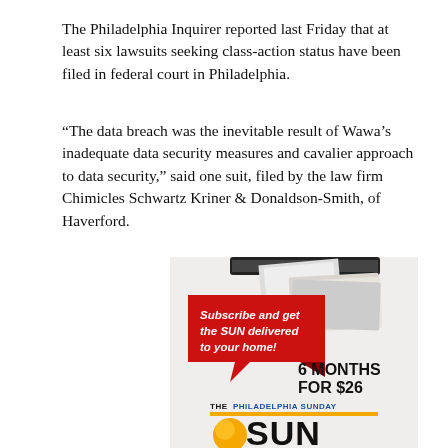The Philadelphia Inquirer reported last Friday that at least six lawsuits seeking class-action status have been filed in federal court in Philadelphia.
“The data breach was the inevitable result of Wawa’s inadequate data security measures and cavalier approach to data security,” said one suit, filed by the law firm Chimicles Schwartz Kriner & Donaldson-Smith, of Haverford.
[Figure (infographic): Advertisement for The Philadelphia Sunday SUN newspaper subscription. Shows a newspaper being delivered into a mailbox slot. Red speech-bubble shape with white italic text: 'Subscribe and get the SUN delivered to your home!' Large bold black text: '6 MONTHS FOR $26'. Bottom shows 'THE PHILADELPHIA SUNDAY' in black/blue text with an orange bar, then large 'SUN' logo with orange circle and black text. Bottom text partially cut off: 'philsun.com/home-delivery']